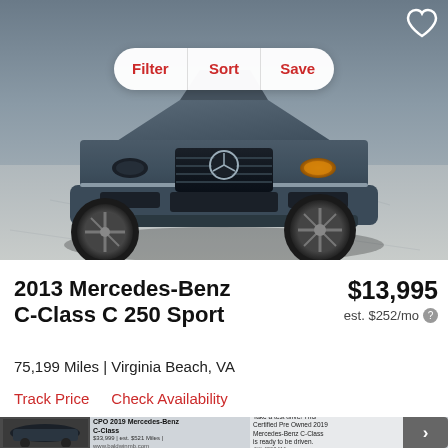[Figure (photo): Front view of a gray 2013 Mercedes-Benz C-Class C 250 Sport photographed on a parking lot surface, with Filter, Sort, Save navigation bar overlaid at the top and a heart/save icon in the upper right corner.]
2013 Mercedes-Benz C-Class C 250 Sport
$13,995
est. $252/mo
75,199 Miles | Virginia Beach, VA
Track Price   Check Availability
[Figure (screenshot): Bottom advertisement strip showing a CPO 2019 Mercedes-Benz C-Class with thumbnail, text details, and a right arrow navigation button.]